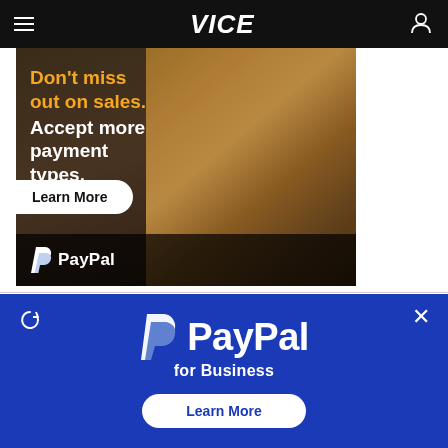VICE
[Figure (photo): PayPal advertisement banner showing a woman in yellow sweater working on laptop with text 'Don't miss out on sales. Accept more payment types.' with a Learn More button and PayPal logo]
[Figure (infographic): PayPal for Business advertisement on blue background with large PayPal logo, text 'for Business', and a Learn More button]